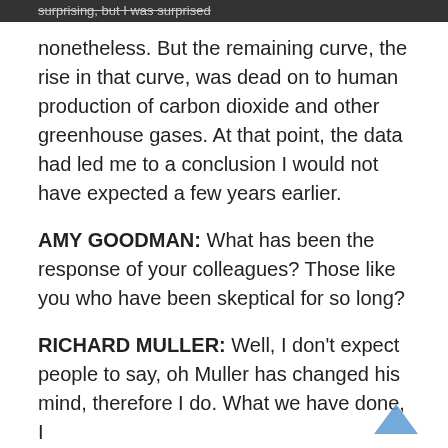surprising, but I was surprised
nonetheless. But the remaining curve, the rise in that curve, was dead on to human production of carbon dioxide and other greenhouse gases. At that point, the data had led me to a conclusion I would not have expected a few years earlier.
AMY GOODMAN: What has been the response of your colleagues? Those like you who have been skeptical for so long?
RICHARD MULLER: Well, I don't expect people to say, oh Muller has changed his mind, therefore I do. What we have done, I